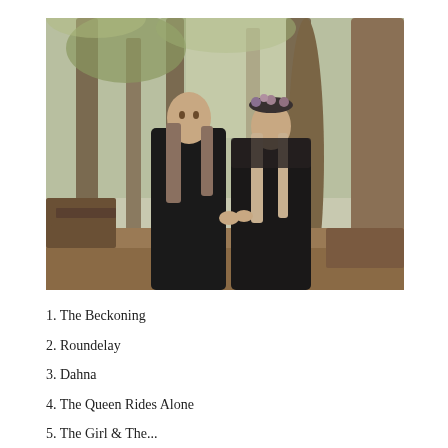[Figure (photo): Two people dressed in dark/black medieval-style clothing standing in a woodland setting. The man on the left has long flowing hair and wears a black coat. The woman on the right wears a black fur-trimmed cloak and a floral crown on her head. They are surrounded by trees and branches.]
1. The Beckoning
2. Roundelay
3. Dahna
4. The Queen Rides Alone
5. The Girl & The...